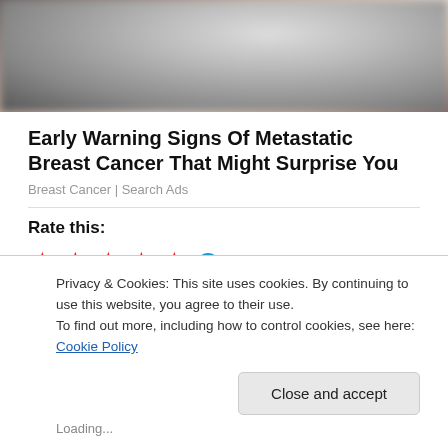[Figure (photo): Blurred close-up photo, partial view of body/skin tones]
Early Warning Signs Of Metastatic Breast Cancer That Might Surprise You
Breast Cancer | Search Ads
Rate this:
10 Votes
Share thi…
Privacy & Cookies: This site uses cookies. By continuing to use this website, you agree to their use.
To find out more, including how to control cookies, see here: Cookie Policy
Close and accept
Loading...